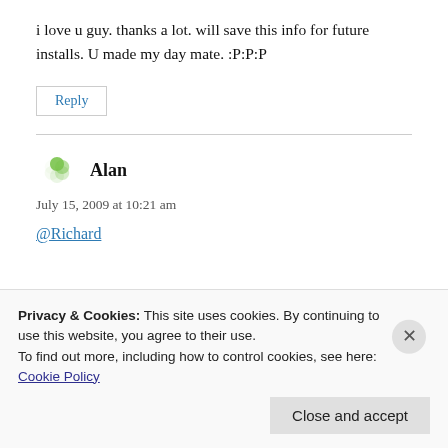i love u guy. thanks a lot. will save this info for future installs. U made my day mate. :P:P:P
Reply
Alan
July 15, 2009 at 10:21 am
@Richard
Privacy & Cookies: This site uses cookies. By continuing to use this website, you agree to their use.
To find out more, including how to control cookies, see here:
Cookie Policy
Close and accept